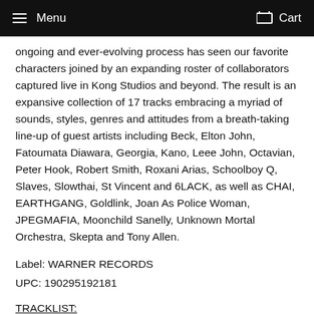Menu   Cart
ongoing and ever-evolving process has seen our favorite characters joined by an expanding roster of collaborators captured live in Kong Studios and beyond. The result is an expansive collection of 17 tracks embracing a myriad of sounds, styles, genres and attitudes from a breath-taking line-up of guest artists including Beck, Elton John, Fatoumata Diawara, Georgia, Kano, Leee John, Octavian, Peter Hook, Robert Smith, Roxani Arias, Schoolboy Q, Slaves, Slowthai, St Vincent and 6LACK, as well as CHAI, EARTHGANG, Goldlink, Joan As Police Woman, JPEGMAFIA, Moonchild Sanelly, Unknown Mortal Orchestra, Skepta and Tony Allen.
Label: WARNER RECORDS
UPC: 190295192181
TRACKLIST:
1. Strange Timez (feat. Robert Smith)